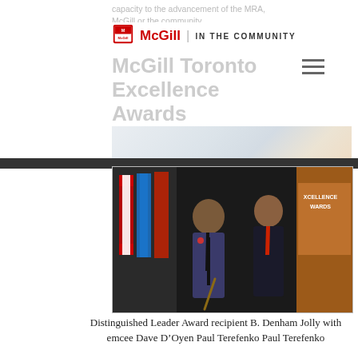capacity to the advancement of the MRA, McGill or the community.
McGill | IN THE COMMUNITY
McGill Toronto Excellence Awards
[Figure (photo): Two men in suits posing together at the McGill Toronto Excellence Awards event. Flags visible in background on the left, and an orange awards backdrop on the right. One man holds a cane.]
Distinguished Leader Award recipient B. Denham Jolly with emcee Dave D'Oyen Paul Terefenko Paul Terefenko